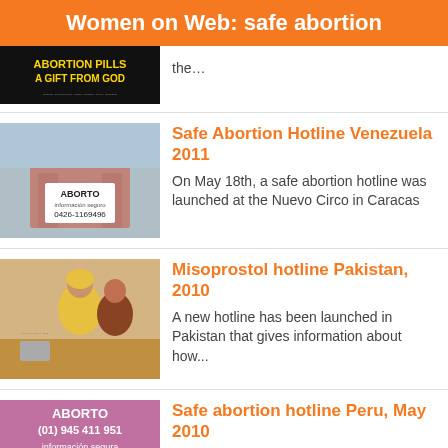Women on Web: safe abortion
the…
Safe Abortion Hotline Venezuela 2011
On May 18th, a safe abortion hotline was launched at the Nuevo Circo in Caracas
Misoprostol hotline Pakistan, 2010
A new hotline has been launched in Pakistan that gives information about how...
Safe abortion hotline Peru, May 2010